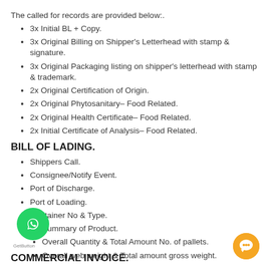The called for records are provided below:.
3x Initial BL + Copy.
3x Original Billing on Shipper's Letterhead with stamp & signature.
3x Original Packaging listing on shipper's letterhead with stamp & trademark.
2x Original Certification of Origin.
2x Original Phytosanitary– Food Related.
2x Original Health Certificate– Food Related.
2x Initial Certificate of Analysis– Food Related.
BILL OF LADING.
Shippers Call.
Consignee/Notify Event.
Port of Discharge.
Port of Loading.
Container No & Type.
Summary of Product.
Overall Quantity & Total Amount No. of pallets.
Overall web weight & Total amount gross weight.
COMMERCIAL INVOICE.